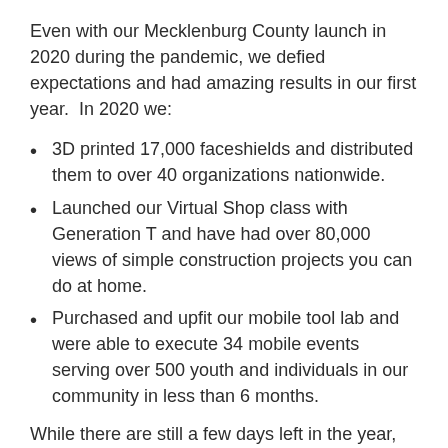Even with our Mecklenburg County launch in 2020 during the pandemic, we defied expectations and had amazing results in our first year.  In 2020 we:
3D printed 17,000 faceshields and distributed them to over 40 organizations nationwide.
Launched our Virtual Shop class with Generation T and have had over 80,000 views of simple construction projects you can do at home.
Purchased and upfit our mobile tool lab and were able to execute 34 mobile events serving over 500 youth and individuals in our community in less than 6 months.
While there are still a few days left in the year, our 2nd year has been no less impactful!
Removing Barriers – With our plumbing training, we provided $100 weekly stipends and